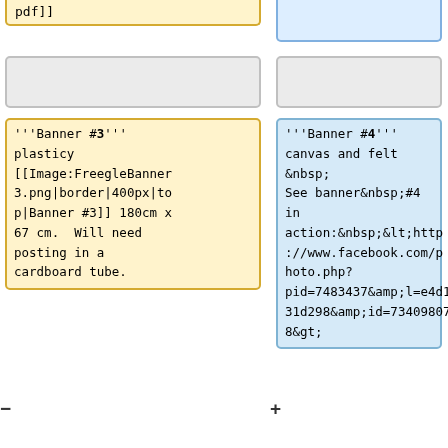pdf]]
'''Banner #3''' plasticy [[Image:FreegleBanner3.png|border|400px|top|Banner #3]] 180cm x 67 cm.  Will need posting in a cardboard tube.
'''Banner #4''' canvas and felt &nbsp; See banner&nbsp;#4 in action:&nbsp;&lt;http://www.facebook.com/photo.php?pid=7483437&amp;l=e4d131d298&amp;id=734098078&gt;
In theory banner #4 is available for UK-wide loan, as long as it is not out over the&nbsp;3rd Saturday of any January, March,